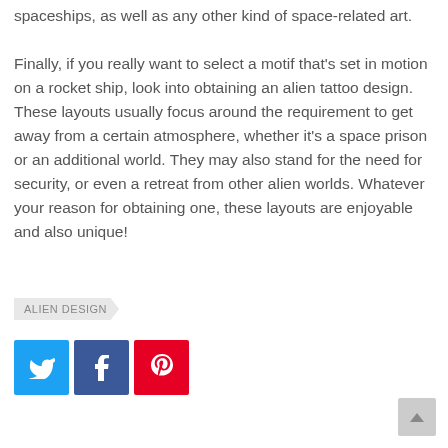spaceships, as well as any other kind of space-related art.
Finally, if you really want to select a motif that's set in motion on a rocket ship, look into obtaining an alien tattoo design. These layouts usually focus around the requirement to get away from a certain atmosphere, whether it's a space prison or an additional world. They may also stand for the need for security, or even a retreat from other alien worlds. Whatever your reason for obtaining one, these layouts are enjoyable and also unique!
ALIEN DESIGN
[Figure (other): Social sharing buttons for Twitter (blue), Facebook (dark blue), and Pinterest (red)]